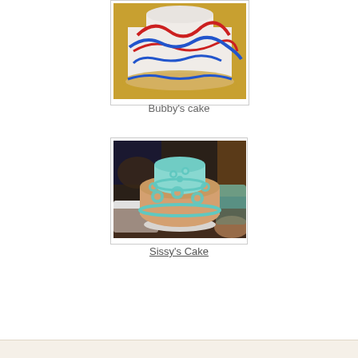[Figure (photo): A two-tier white cake decorated with red and blue frosting designs, sitting on a gold decorative plate on a yellow tablecloth. Top portion cropped.]
Bubby's cake
[Figure (photo): A two-tier cake decorated with light blue and tan/peach fondant flowers, sitting on a white cake stand. A person's arm is visible in the background along with other cake-decorating materials.]
Sissy's Cake